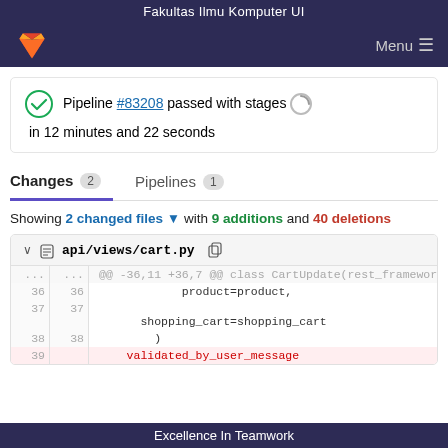Fakultas Ilmu Komputer UI
[Figure (screenshot): GitLab logo and navigation bar with Menu button]
Pipeline #83208 passed with stages in 12 minutes and 22 seconds
Changes 2   Pipelines 1
Showing 2 changed files with 9 additions and 40 deletions
api/views/cart.py
... ... @@ -36,11 +36,7 @@ class CartUpdate(rest_framework_views.APIView):
36 36      product=product,
37 37 
      shopping_cart=shopping_cart
38 38          )
39    validated_by_user_message
Excellence In Teamwork